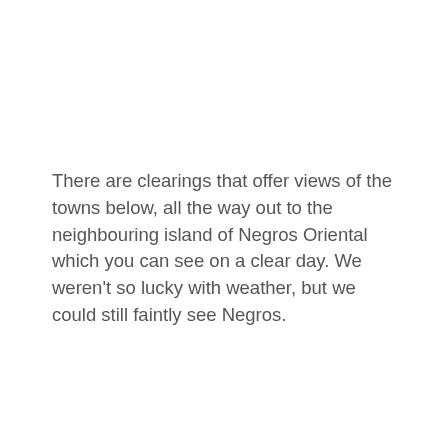There are clearings that offer views of the towns below, all the way out to the neighbouring island of Negros Oriental which you can see on a clear day. We weren't so lucky with weather, but we could still faintly see Negros.